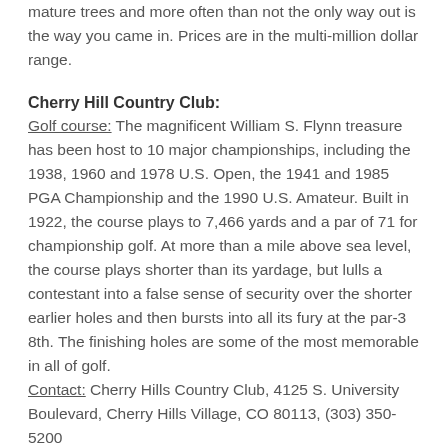mature trees and more often than not the only way out is the way you came in. Prices are in the multi-million dollar range.
Cherry Hill Country Club:
Golf course: The magnificent William S. Flynn treasure has been host to 10 major championships, including the 1938, 1960 and 1978 U.S. Open, the 1941 and 1985 PGA Championship and the 1990 U.S. Amateur. Built in 1922, the course plays to 7,466 yards and a par of 71 for championship golf. At more than a mile above sea level, the course plays shorter than its yardage, but lulls a contestant into a false sense of security over the shorter earlier holes and then bursts into all its fury at the par-3 8th. The finishing holes are some of the most memorable in all of golf.
Contact: Cherry Hills Country Club, 4125 S. University Boulevard, Cherry Hills Village, CO 80113, (303) 350-5200